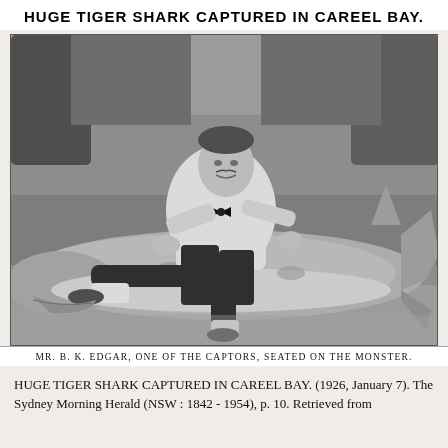HUGE TIGER SHARK CAPTURED IN CAREEL BAY.
[Figure (photo): Black and white newspaper photograph of a man in a white shirt and bow tie, seated on top of a large tiger shark on grass. The man is Mr. B. K. Edgar, one of the captors. The shark is laid out flat with its tail visible to the right.]
MR. B. K. EDGAR, ONE OF THE CAPTORS, SEATED ON THE MONSTER.
HUGE TIGER SHARK CAPTURED IN CAREEL BAY. (1926, January 7). The Sydney Morning Herald (NSW : 1842 - 1954), p. 10. Retrieved from